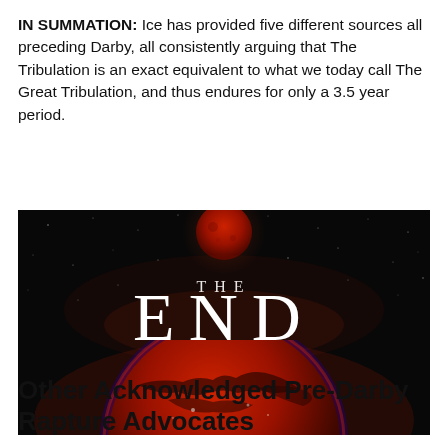IN SUMMATION: Ice has provided five different sources all preceding Darby, all consistently arguing that The Tribulation is an exact equivalent to what we today call The Great Tribulation, and thus endures for only a 3.5 year period.
[Figure (photo): Cinematic title card image with a dark space background, a red moon/planet at the top, a glowing red Earth at the bottom, and the text 'THE END' in white serif letters in the center.]
Other Acknowledged Pre-Darby Rapture Advocates